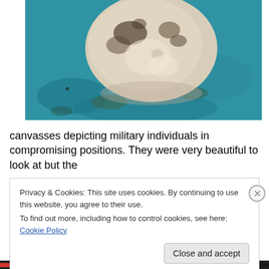[Figure (photo): Close-up photograph of a painted canvas showing a light-colored rocky or sculptural form against a textured turquoise/teal blue background. The painting appears to depict a military-themed subject.]
canvasses depicting military individuals in compromising positions. They were very beautiful to look at but the
Privacy & Cookies: This site uses cookies. By continuing to use this website, you agree to their use.
To find out more, including how to control cookies, see here: Cookie Policy